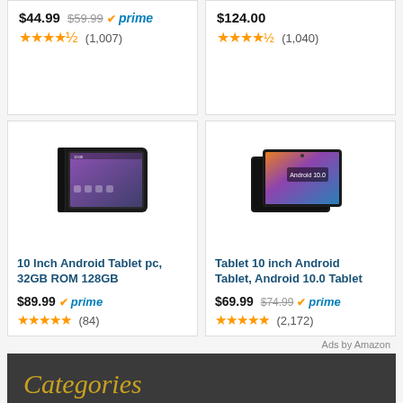[Figure (screenshot): Top-left product card partial: $44.99 sale price, $59.99 original, Prime badge, 4 stars, (1,007) reviews]
[Figure (screenshot): Top-right product card partial: $124.00 price, 4 stars, (1,040) reviews]
[Figure (screenshot): 10 Inch Android Tablet pc, 32GB ROM 128GB - tablet with case image, $89.99 Prime, 4 stars (84) reviews]
[Figure (screenshot): Tablet 10 inch Android Tablet, Android 10.0 Tablet - two tablets image, $69.99 sale $74.99 Prime, 4 stars (2,172) reviews]
Ads by Amazon
Categories
(C) $21,479.00  Ethereum(ETH) $1,611.83  XRP(XRP) $0.345